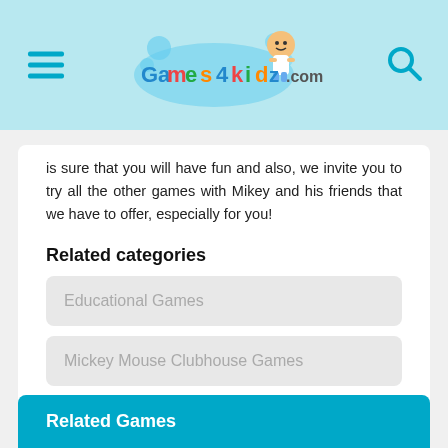Games4Kidz.com
is sure that you will have fun and also, we invite you to try all the other games with Mikey and his friends that we have to offer, especially for you!
Related categories
Educational Games
Mickey Mouse Clubhouse Games
How to play
Use the mouse to play this game!
Related Games